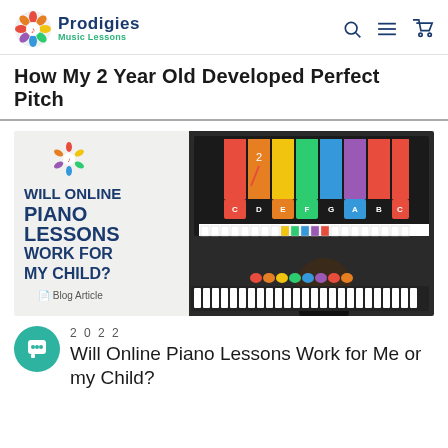Prodigies Music Lessons
How My 2 Year Old Developed Perfect Pitch
[Figure (illustration): Blog article thumbnail showing a child playing a keyboard piano in front of a Samsung monitor displaying colorful musical notes labeled C D E F G A B C with numbers. Left side shows 'WILL ONLINE PIANO LESSONS WORK FOR MY CHILD? Blog Article' text with Prodigies logo.]
2022
Will Online Piano Lessons Work for Me or my Child?